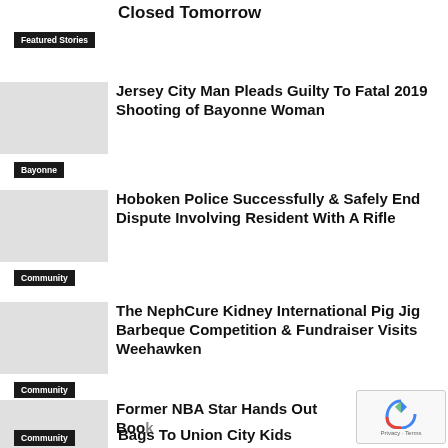Closed Tomorrow
Featured Stories
Jersey City Man Pleads Guilty To Fatal 2019 Shooting of Bayonne Woman
Bayonne
Hoboken Police Successfully & Safely End Dispute Involving Resident With A Rifle
Community
The NephCure Kidney International Pig Jig Barbeque Competition & Fundraiser Visits Weehawken
Community
Former NBA Star Hands Out Book Bags To Union City Kids
Community